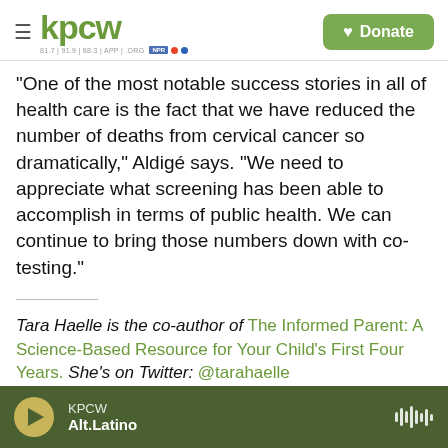KPCW | Donate
"One of the most notable success stories in all of health care is the fact that we have reduced the number of deaths from cervical cancer so dramatically," Aldigé says. "We need to appreciate what screening has been able to accomplish in terms of public health. We can continue to bring those numbers down with co-testing."
Tara Haelle is the co-author of The Informed Parent: A Science-Based Resource for Your Child's First Four Years. She's on Twitter: @tarahaelle
KPCW · Alt.Latino